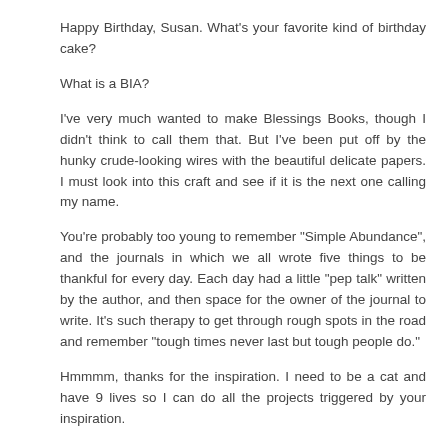Happy Birthday, Susan. What's your favorite kind of birthday cake?
What is a BIA?
I've very much wanted to make Blessings Books, though I didn't think to call them that. But I've been put off by the hunky crude-looking wires with the beautiful delicate papers. I must look into this craft and see if it is the next one calling my name.
You're probably too young to remember "Simple Abundance", and the journals in which we all wrote five things to be thankful for every day. Each day had a little "pep talk" written by the author, and then space for the owner of the journal to write. It's such therapy to get through rough spots in the road and remember "tough times never last but tough people do."
Hmmmm, thanks for the inspiration. I need to be a cat and have 9 lives so I can do all the projects triggered by your inspiration.